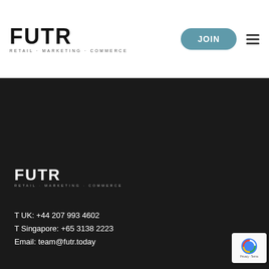[Figure (logo): FUTR logo with tagline RETAIL · MARKETING · COMMERCE in header]
[Figure (other): JOIN button (teal/blue pill shape) and hamburger menu icon]
[Figure (logo): FUTR logo with tagline RETAIL · MARKETING · COMMERCE in white on dark footer]
T UK: +44 207 993 4602
T Singapore: +65 3138 2223
Email: team@futr.today
[Figure (infographic): Social media icons row: LinkedIn, Facebook, Twitter, Instagram, YouTube - teal circles on dark background]
Europe Summit | Middle East Summit | Asia Summit